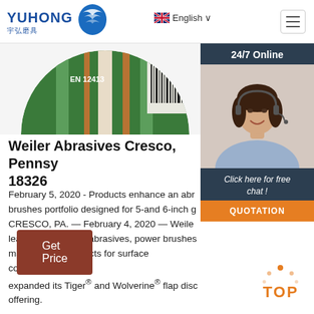YUHONG 宇弘磨具 — English navigation header with hamburger menu
[Figure (photo): Partial view of an abrasive grinding disc with green and beige/white striped label showing EN standard, cropped circular view]
[Figure (photo): 24/7 Online customer service agent — woman with headset smiling, dark navy background panel with 'Click here for free chat!' text and orange QUOTATION button]
Weiler Abrasives Cresco, Pennsylvania 18326
February 5, 2020 - Products enhance an abrasives brushes portfolio designed for 5-and 6-inch grinders. CRESCO, PA. — February 4, 2020 — Weiler leading provider of abrasives, power brushes maintenance products for surface conditioning, has expanded its Tiger® and Wolverine® flap disc offering.
[Figure (other): Orange dotted arc icon above orange 'TOP' text — back-to-top button]